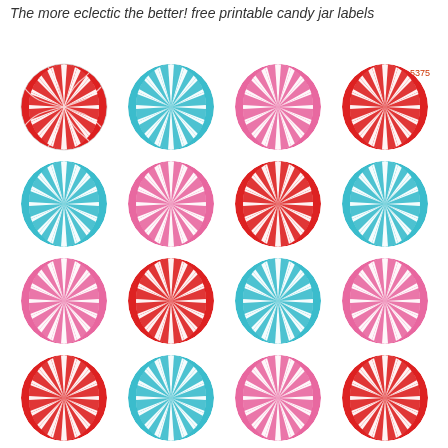The more eclectic the better! free printable candy jar labels
[Figure (illustration): 4x4 grid of 16 circular peppermint candy swirl labels in three color schemes: red/white, teal/white, and pink/white, with varying swirl patterns. Each circle has curved swirl segments radiating from center. Product code WL-5375 appears in top right.]
WL-5375